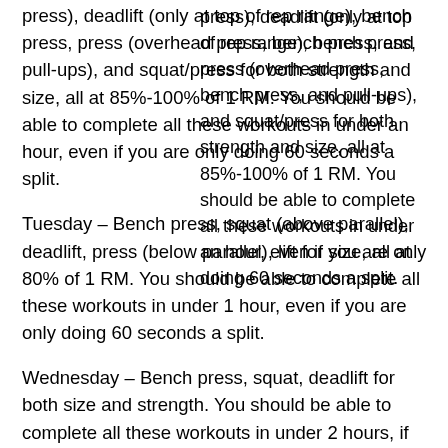press), deadlift (only at top of rep range), bench press, press (overhead press, bench press, and pull-ups), and squat/press for both strength and size, all at 85%-100% of 1 RM. You should be able to complete all these workouts in under an hour, even if you are only doing 60 seconds a split.
Tuesday – Bench press, squat (above parallel), deadlift, press (below parallel), lift for size, all at 80% of 1 RM. You should be able to complete all these workouts in under 1 hour, even if you are only doing 60 seconds a split.
Wednesday – Bench press, squat, deadlift for both size and strength. You should be able to complete all these workouts in under 2 hours, if you only do 60 seconds a split.
Thursday – Bench press, squat/press for both size and strength, deadlift for both...